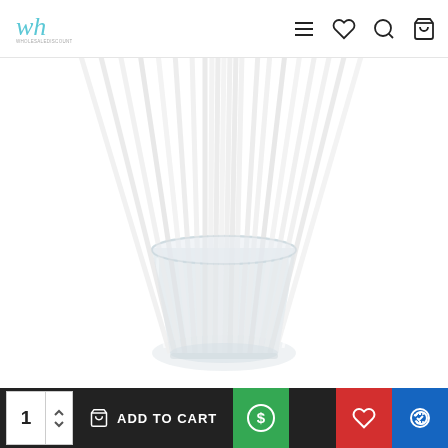[Figure (logo): wh brand logo in teal cursive with small tagline text below]
[Figure (photo): White paper straws bundled in a clear glass cup on white background]
[Figure (screenshot): E-commerce bottom bar with quantity selector showing 1, ADD TO CART button, dollar sign button, wishlist heart button, and compare button]